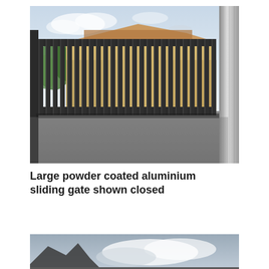[Figure (photo): Large powder coated aluminium sliding gate shown in closed position. The gate has vertical metal bars/slats in dark grey/black finish with a horizontal rail at top and bottom. Behind the gate is a wooden fence and a building with tiled roof. The driveway in front is grey asphalt. On the right side is a gate post/column in stainless steel finish.]
Large powder coated aluminium sliding gate shown closed
[Figure (photo): Partial view of another photo showing a grey sky with clouds, appears to be showing another gate or structure from a low angle.]